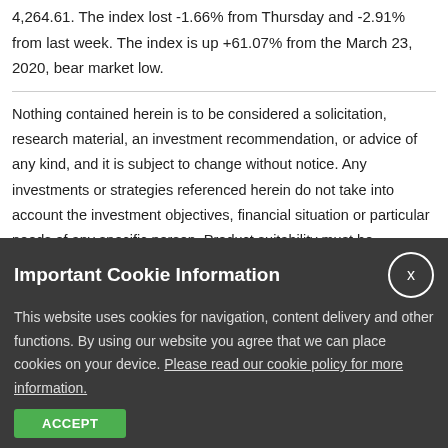4,264.61. The index lost -1.66% from Thursday and -2.91% from last week. The index is up +61.07% from the March 23, 2020, bear market low.
Nothing contained herein is to be considered a solicitation, research material, an investment recommendation, or advice of any kind, and it is subject to change without notice. Any investments or strategies referenced herein do not take into account the investment objectives, financial situation or particular needs of any specific person. Product suitability must be independently determined for each individual investor. Tax advice always depends on your particular personal situation and preferences. You should consult the appropriate financial professional regarding your specific circumstances. The
Important Cookie Information
This website uses cookies for navigation, content delivery and other functions. By using our website you agree that we can place cookies on your device. Please read our cookie policy for more information.
ACCEPT